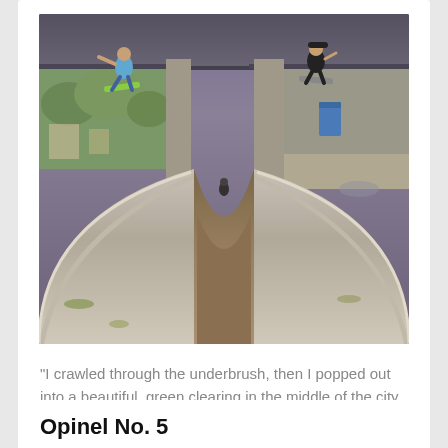[Figure (photo): Skateboarders performing tricks on a concrete halfpipe/ramp under a bridge overpass. Two skaters are visible at the top edges of the ramp, with the large curved concrete structure filling the center of the image.]
"I crawled through the underbrush, then I popped out into a beautiful, green clearing in the middle of the city. And in the center of it, about 20 young people were mixing concrete in big...
Opinel No. 5